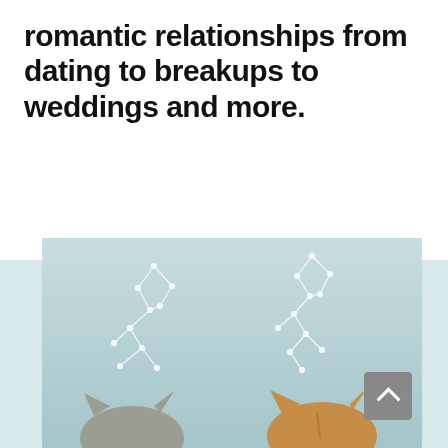romantic relationships from dating to breakups to weddings and more.
[Figure (photo): Photo of two cats (one grey tabby, one orange/golden) seen from above against a light teal/blue background, with white constellation line drawings overlaid above each cat's head. A grey scroll-up button is visible in the lower right of the image.]